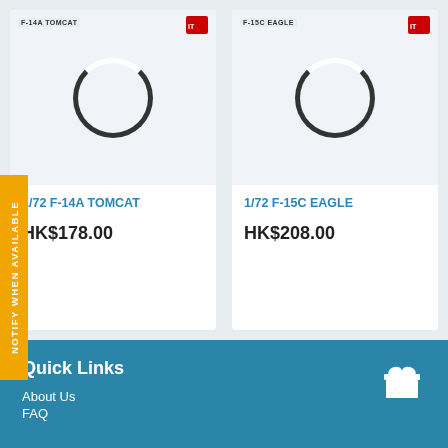[Figure (screenshot): Product card for 1/72 F-14A TOMCAT model kit showing box art with a loading spinner overlay, priced at HK$178.00]
1/72 F-14A TOMCAT
HK$178.00
[Figure (screenshot): Product card for 1/72 F-15C EAGLE model kit showing box art with a loading spinner overlay, priced at HK$208.00]
1/72 F-15C EAGLE
HK$208.00
NOTIFY WHEN AVAILABLE
Quick Links
About Us
FAQ